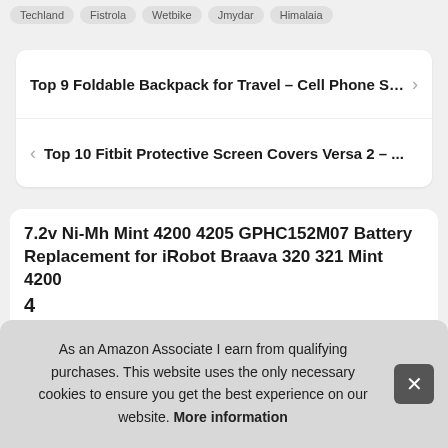Techland  Fistrola  Wetbike  Jmydar  Himalaia
Top 9 Foldable Backpack for Travel – Cell Phone S… >
< Top 10 Fitbit Protective Screen Covers Versa 2 – ...
7.2v Ni-Mh Mint 4200 4205 GPHC152M07 Battery Replacement for iRobot Braava 320 321 Mint 4200 4
As an Amazon Associate I earn from qualifying purchases. This website uses the only necessary cookies to ensure you get the best experience on our website. More information